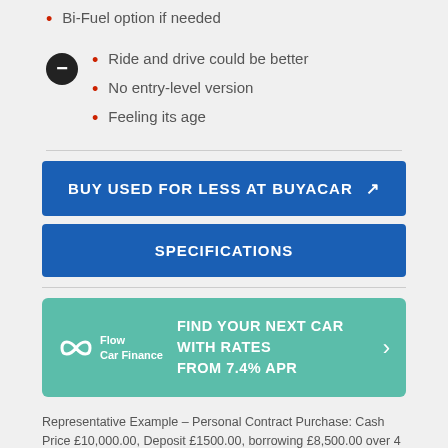Bi-Fuel option if needed
Ride and drive could be better
No entry-level version
Feeling its age
BUY USED FOR LESS AT BUYACAR ↗
SPECIFICATIONS
[Figure (logo): Flow Car Finance logo with teal infinity-style symbol]
FIND YOUR NEXT CAR WITH RATES FROM 7.4% APR
Representative Example – Personal Contract Purchase: Cash Price £10,000.00, Deposit £1500.00, borrowing £8,500.00 over 4 years at 7.4% Representative APR (fixed). (7 monthly payments